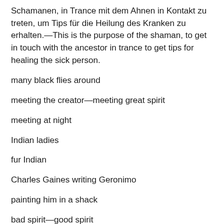Schamanen, in Trance mit dem Ahnen in Kontakt zu treten, um Tips für die Heilung des Kranken zu erhalten.—This is the purpose of the shaman, to get in touch with the ancestor in trance to get tips for healing the sick person.
many black flies around
meeting the creator—meeting great spirit
meeting at night
Indian ladies
fur Indian
Charles Gaines writing Geronimo
painting him in a shack
bad spirit—good spirit